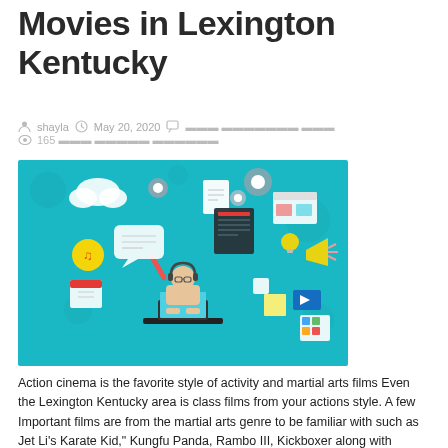Movies in Lexington Kentucky
shayla   May 20, 2020   ▬▬▬ ▬▬▬▬▬▬▬ ▬▬▬   165 ▬▬▬ ▬▬▬▬▬ ▬▬▬▬▬▬
[Figure (illustration): Colorful flat-style illustration on teal background showing a person at a laptop surrounded by floating app and media icons (gears, clouds, documents, music notes, calendar, video player, etc.)]
Action cinema is the favorite style of activity and martial arts films Even the Lexington Kentucky area is class films from your actions style. A few Important films are from the martial arts genre to be familiar with such as Jet Li’s Karate Kid,” Kungfu Panda, Rambo III, Kickboxer along with Martial-arts Man. Some activity movies have a twisted arts ...
▬▬▬ ▬▬▬▬▬▬ »